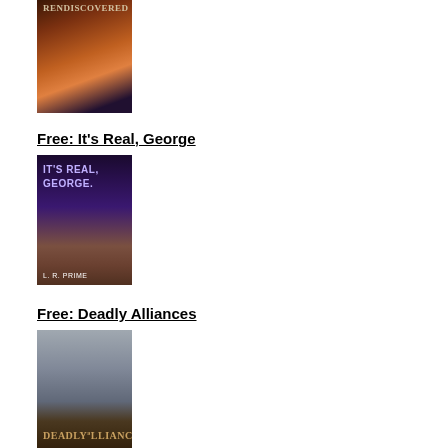[Figure (illustration): Book cover for 'A Soul Rediscovered' showing a face dissolving into a cosmic nebula, dark and orange tones]
Free: It's Real, George
[Figure (illustration): Book cover for 'It's Real, George' by L. R. Prime, showing two figures walking away into a field under a purple sky]
Free: Deadly Alliances
[Figure (illustration): Book cover for 'Deadly Alliances' showing a stormy beach scene with dark tones]